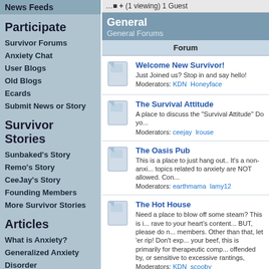News Feeds
Participate
Survivor Forums
Anxiety Chat
User Blogs
Old Blogs
Ecards
Submit News or Story
Survivor Stories
Sunbaked's Story
Remo's Story
CeeJay's Story
Founding Members
More Survivor Stories
Articles
What is Anxiety?
Generalized Anxiety Disorder
Social Anxiety
What is Panic?
(1 viewing) 1 Guest
General - General Forums
| Forum |
| --- |
| Welcome New Survivor! - Just Joined us? Stop in and say hello! - Moderators: KDN Honeyface |
| The Survival Attitude - A place to discuss the "Survival Attitude" Do yo... - Moderators: ceejay lrouse |
| The Oasis Pub - This is a place to just hang out.. It's a non-anxi... topics related to anxiety are NOT allowed. Con... - Moderators: earthmama lamy12 |
| The Hot House - Need a place to blow off some steam? This is i... rave to your heart's content... BUT, please do n... members. Other than that, let 'er rip! Don't exp... your beef, this is primarily for therapeutic comp... offended by, or sensitive to excessive rantings,... - Moderators: KDN scooby |
| Chat Connection - Want to invite other Survivors to a Chat? This f... setup chat times. Leave a message in this foru... when others are planning a Chat. - Moderators: remo rippelk2 |